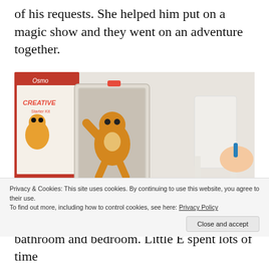of his requests. She helped him put on a magic show and they went on an adventure together.
[Figure (photo): Photo of the Osmo Creative Starter Kit on a table with an iPad in a stand showing a cartoon bear character on screen, colored markers nearby, and a child's hand holding a blue marker on the right side.]
Privacy & Cookies: This site uses cookies. By continuing to use this website, you agree to their use.
To find out more, including how to control cookies, see here: Privacy Policy
Close and accept
bathroom and bedroom. Little E spent lots of time